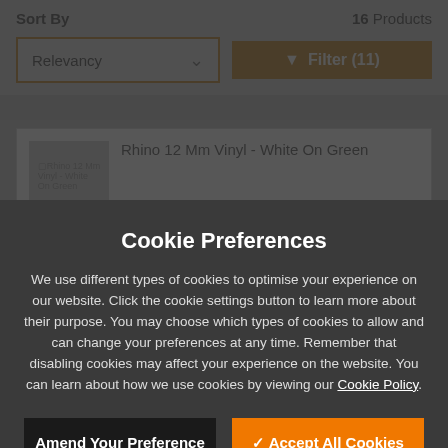Sort By
16 Products
Relevancy
▼ Filter (11)
Rhino 12 Mm Vinyl - White On Green
Cookie Preferences
We use different types of cookies to optimise your experience on our website. Click the cookie settings button to learn more about their purpose. You may choose which types of cookies to allow and can change your preferences at any time. Remember that disabling cookies may affect your experience on the website. You can learn about how we use cookies by viewing our Cookie Policy.
Amend Your Preference
✓ Accept All Cookies